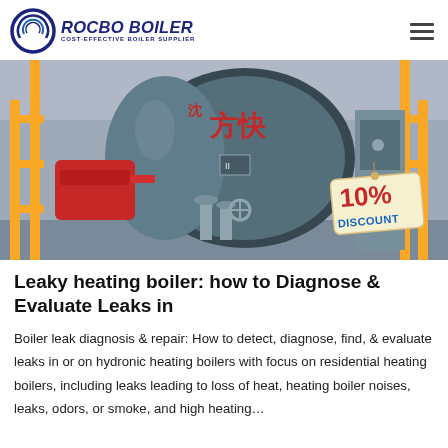ROCBO BOILER — COST-EFFECTIVE BOILER SUPPLIER
[Figure (photo): Industrial gas-fired boiler with red burner assembly, blue cylindrical boiler body with Chinese characters, yellow safety railings, piping and valves, and a '10% DISCOUNT' tag in the lower right.]
Leaky heating boiler: how to Diagnose & Evaluate Leaks in
Boiler leak diagnosis & repair: How to detect, diagnose, find, & evaluate leaks in or on hydronic heating boilers with focus on residential heating boilers, including leaks leading to loss of heat, heating boiler noises, leaks, odors, or smoke, and high heating…